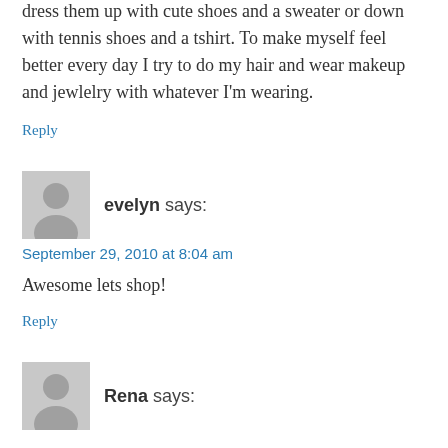dress them up with cute shoes and a sweater or down with tennis shoes and a tshirt. To make myself feel better every day I try to do my hair and wear makeup and jewlelry with whatever I'm wearing.
Reply
evelyn says:
September 29, 2010 at 8:04 am
Awesome lets shop!
Reply
Rena says: